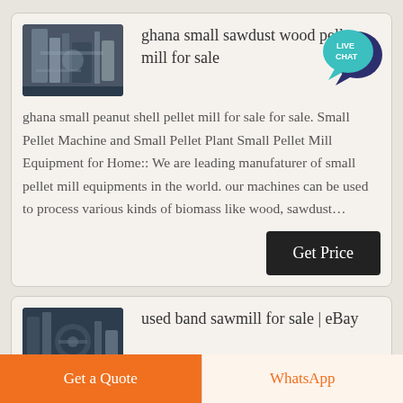[Figure (photo): Industrial pellet mill machine equipment photo]
ghana small sawdust wood pellet mill for sale
[Figure (infographic): Live Chat speech bubble icon in teal/dark blue]
ghana small peanut shell pellet mill for sale for sale. Small Pellet Machine and Small Pellet Plant Small Pellet Mill Equipment for Home:: We are leading manufaturer of small pellet mill equipments in the world. our machines can be used to process various kinds of biomass like wood, sawdust…
Get Price
[Figure (photo): Industrial sawmill band saw machinery photo]
used band sawmill for sale | eBay
Get a Quote
WhatsApp